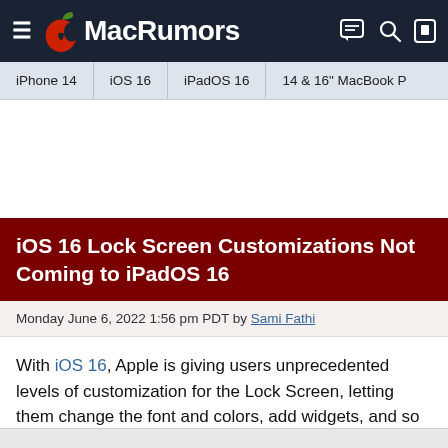MacRumors
iPhone 14 | iOS 16 | iPadOS 16 | 14 & 16" MacBook P
iOS 16 Lock Screen Customizations Not Coming to iPadOS 16
Monday June 6, 2022 1:56 pm PDT by Sami Fathi
With iOS 16, Apple is giving users unprecedented levels of customization for the Lock Screen, letting them change the font and colors, add widgets, and so much more. None of those customization features, however, are coming to iPadOS 16.